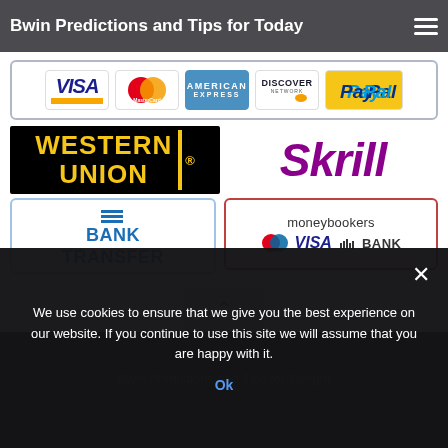Bwin Predictions and Tips for Today
[Figure (illustration): Payment method logos: VISA, MasterCard, American Express, Discover, PayPal in a bordered box]
[Figure (illustration): Western Union logo (black background, yellow text) and Skrill logo (purple italic text)]
[Figure (illustration): Bank Transfer logo in blue bordered box and Moneybookers (Skrill) payment options box with Maestro, VISA, BANK icons]
We use cookies to ensure that we give you the best experience on our website. If you continue to use this site we will assume that you are happy with it.
Ok